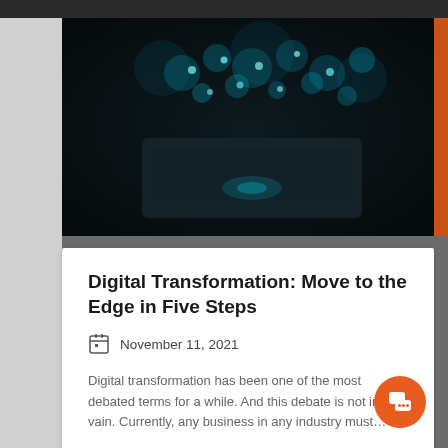[Figure (photo): Dark photo of a laptop keyboard with glowing teal/cyan bokeh lights in the background on a black background]
Digital Transformation: Move to the Edge in Five Steps
November 11, 2021
Digital transformation has been one of the most debated terms for a while. And this debate is not in vain. Currently, any business in any industry must…